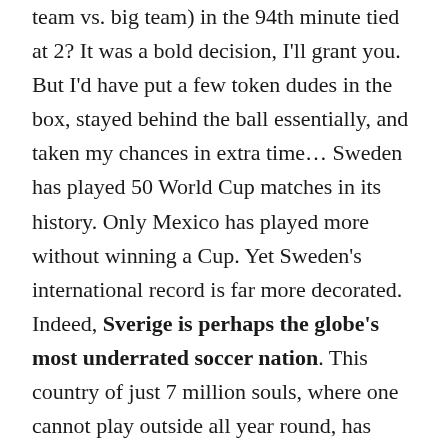team vs. big team) in the 94th minute tied at 2? It was a bold decision, I'll grant you. But I'd have put a few token dudes in the box, stayed behind the ball essentially, and taken my chances in extra time... Sweden has played 50 World Cup matches in its history. Only Mexico has played more without winning a Cup. Yet Sweden's international record is far more decorated. Indeed, Sverige is perhaps the globe's most underrated soccer nation. This country of just 7 million souls, where one cannot play outside all year round, has produced a World Cup finalist (1958), three semifinalists (1938, 1950, 1994) and two quarterfinalists (1934, 2018). It may well better a last-8 finish this year — all without Zlatan Ibrahimovich, the finest Swedish player of his generation (and one of all time), who they chose till